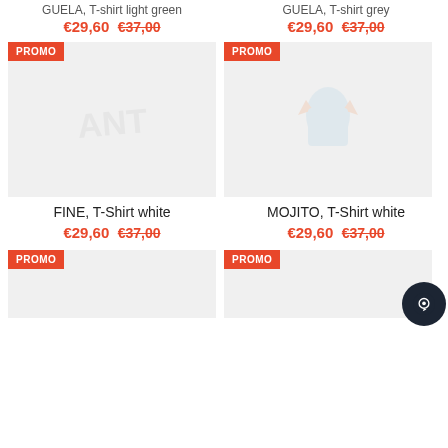GUELA, T-shirt light green
€29,60  €37,00
GUELA, T-shirt grey
€29,60  €37,00
[Figure (photo): Product image placeholder for FINE T-shirt white with PROMO badge]
[Figure (photo): Product image placeholder for MOJITO T-shirt white with PROMO badge]
FINE, T-Shirt white
€29,60  €37,00
MOJITO, T-Shirt white
€29,60  €37,00
[Figure (photo): Product image placeholder with PROMO badge, bottom left]
[Figure (photo): Product image placeholder with PROMO badge, bottom right]